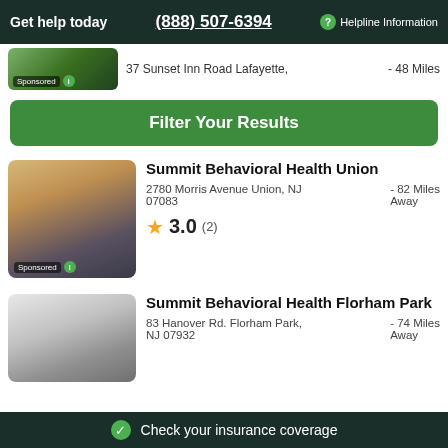Get help today  (888) 507-6394  ? Helpline Information
37 Sunset Inn Road Lafayette,  - 48 Miles
[Figure (photo): Outdoor foliage photo with Sponsored badge]
[Figure (other): Green Filter Your Results button]
Summit Behavioral Health Union
2780 Morris Avenue Union, NJ  - 82 Miles
07083                    Away
3.0 (2)
[Figure (photo): Interior room with chairs photo with Sponsored badge]
Summit Behavioral Health Florham Park
83 Hanover Rd. Florham Park,  - 74 Miles
NJ 07932                  Away
[Figure (photo): Person at whiteboard photo]
Check your insurance coverage